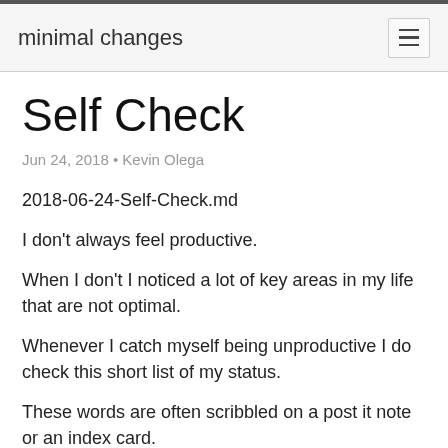minimal changes
Self Check
Jun 24, 2018 • Kevin Olega
2018-06-24-Self-Check.md
I don't always feel productive.
When I don't I noticed a lot of key areas in my life that are not optimal.
Whenever I catch myself being unproductive I do check this short list of my status.
These words are often scribbled on a post it note or an index card.